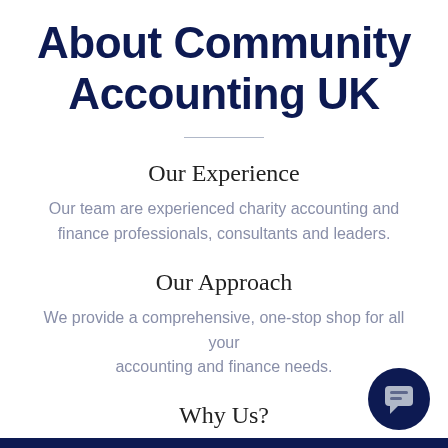About Community Accounting UK
Our Experience
Our team are experienced charity accounting and finance professionals, consultants and leaders.
Our Approach
We provide a comprehensive, one-stop shop for all your accounting and finance needs.
Why Us?